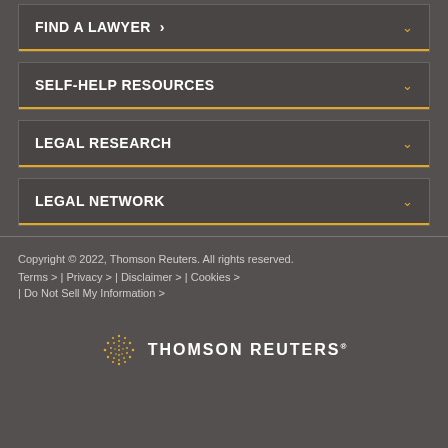FIND A LAWYER >
SELF-HELP RESOURCES
LEGAL RESEARCH
LEGAL NETWORK
Copyright © 2022, Thomson Reuters. All rights reserved.
Terms > | Privacy > | Disclaimer > | Cookies >
| Do Not Sell My Information >
[Figure (logo): Thomson Reuters logo with dot-pattern globe icon and text THOMSON REUTERS]